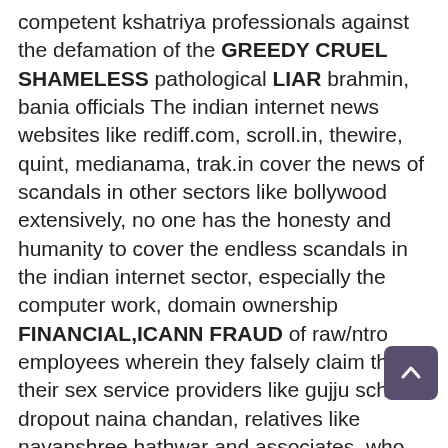competent kshatriya professionals against the defamation of the GREEDY CRUEL SHAMELESS pathological LIAR brahmin, bania officials The indian internet news websites like rediff.com, scroll.in, thewire, quint, medianama, trak.in cover the news of scandals in other sectors like bollywood extensively, no one has the honesty and humanity to cover the endless scandals in the indian internet sector, especially the computer work, domain ownership FINANCIAL,ICANN FRAUD of raw/ntro employees wherein they falsely claim that their sex service providers like gujju school dropout naina chandan, relatives like nayanshree hathwar and associates, who do not spend any money on domains, do no computer work, have no online income, own the domains, bank , paypal account, credit cards, online account of a private citizen who the ntro/raw/cbi employees HATE Harmless single woman domain investor is also subjected to human rights abuses, MEMORY ROBBERY